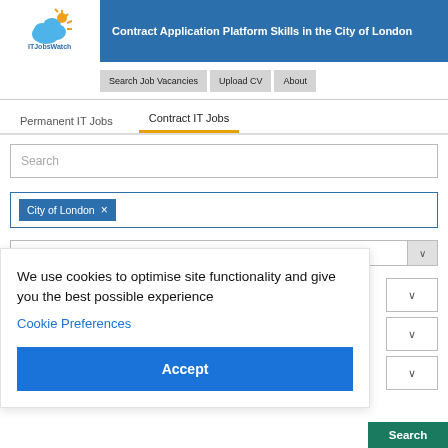Contract Application Platform Skills in the City of London
Search Job Vacancies  Upload CV  About
Permanent IT Jobs
Contract IT Jobs
Search
City of London ×
We use cookies to optimise site functionality and give you the best possible experience
Cookie Preferences
Accept
Search